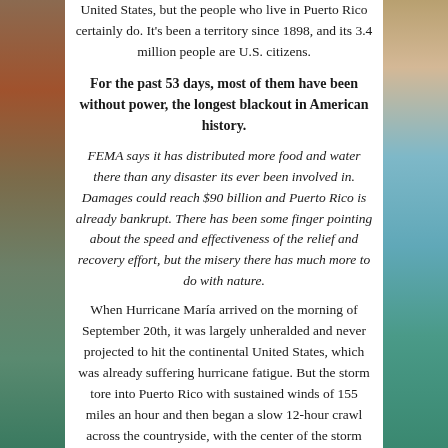United States, but the people who live in Puerto Rico certainly do. It's been a territory since 1898, and its 3.4 million people are U.S. citizens.
For the past 53 days, most of them have been without power, the longest blackout in American history.
FEMA says it has distributed more food and water there than any disaster its ever been involved in. Damages could reach $90 billion and Puerto Rico is already bankrupt. There has been some finger pointing about the speed and effectiveness of the relief and recovery effort, but the misery there has much more to do with nature.
When Hurricane María arrived on the morning of September 20th, it was largely unheralded and never projected to hit the continental United States, which was already suffering hurricane fatigue. But the storm tore into Puerto Rico with sustained winds of 155 miles an hour and then began a slow 12-hour crawl across the countryside, with the center of the storm enveloping the